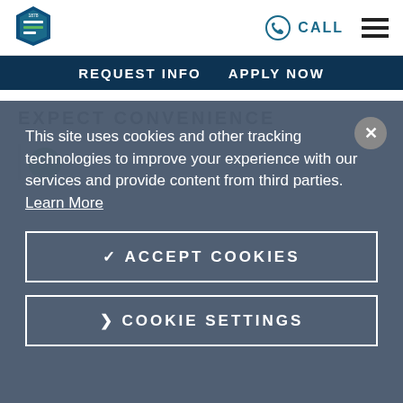[Figure (logo): University shield/crest logo in blue and green]
CALL | hamburger menu
REQUEST INFO  APPLY NOW
EXPECT CONVENIENCE
This site uses cookies and other tracking technologies to improve your experience with our services and provide content from third parties. Learn More
✓ ACCEPT COOKIES
❯ COOKIE SETTINGS